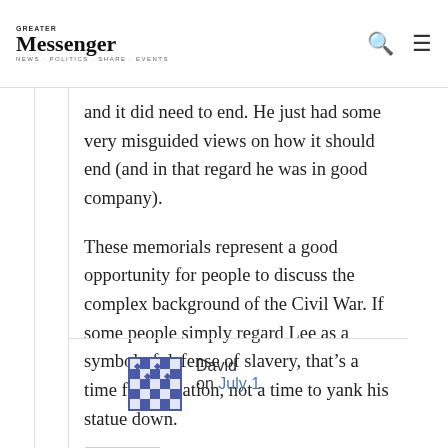Messenger
and it did need to end. He just had some very misguided views on how it should end (and in that regard he was in good company).
These memorials represent a good opportunity for people to discuss the complex background of the Civil War. If some people simply regard Lee as a symbol of defense of slavery, that's a time for education, not a time to yank his statue down.
Reply ↓
David on July 1,